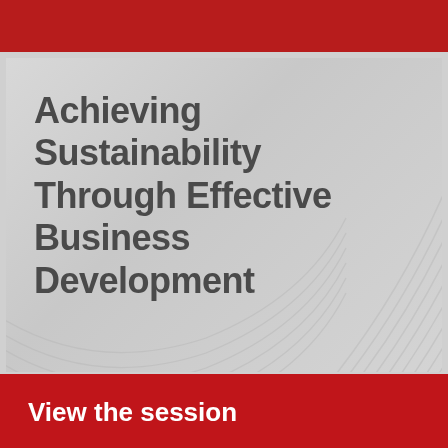[Figure (illustration): Decorative curved arc lines on gray background forming a swirl pattern on the right side of the main content area]
Achieving Sustainability Through Effective Business Development
View the session